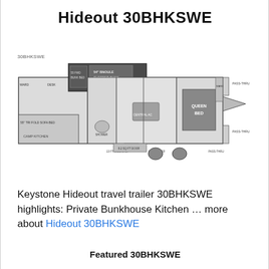Hideout 30BHKSWE
[Figure (schematic): Floor plan diagram of the Keystone Hideout 30BHKSWE travel trailer showing bunkhouse, kitchen, bathroom, central AC, queen bed, and pass-through storage areas.]
Keystone Hideout travel trailer 30BHKSWE highlights: Private Bunkhouse Kitchen … more about Hideout 30BHKSWE
Featured 30BHKSWE